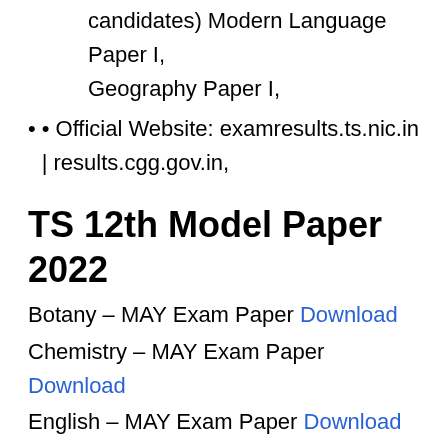candidates) Modern Language Paper I, Geography Paper I,
• Official Website: examresults.ts.nic.in | results.cgg.gov.in,
TS 12th Model Paper 2022
Botany – MAY Exam Paper Download
Chemistry – MAY Exam Paper Download
English – MAY Exam Paper Download
Mathematics -II A – MAY Exam Paper Download
Mathematics -II B – MAY Exam Paper